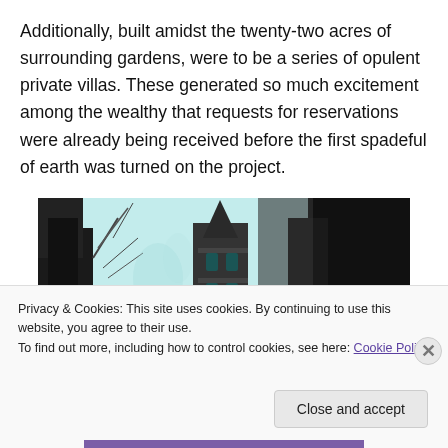Additionally, built amidst the twenty-two acres of surrounding gardens, were to be a series of opulent private villas. These generated so much excitement among the wealthy that requests for reservations were already being received before the first spadeful of earth was turned on the project.
[Figure (photo): Black and white/light blue tinted photograph of a Gothic-style church or cathedral tower with spire, surrounded by bare trees, appearing as a historical architectural photograph.]
Privacy & Cookies: This site uses cookies. By continuing to use this website, you agree to their use.
To find out more, including how to control cookies, see here: Cookie Policy